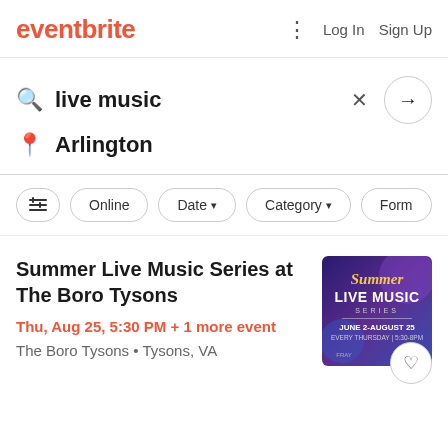eventbrite   Log In  Sign Up
live music   Arlington
Online   Date   Category   Form
Summer Live Music Series at The Boro Tysons
Thu, Aug 25, 5:30 PM + 1 more event
The Boro Tysons • Tysons, VA
[Figure (screenshot): Event poster for Summer Live Music Series, purple/blue gradient background, text: Summer LIVE MUSIC SERIES, JUNE 2-AUGUST 25, EVERY THURSDAY 5:30-8PM, FRAY]